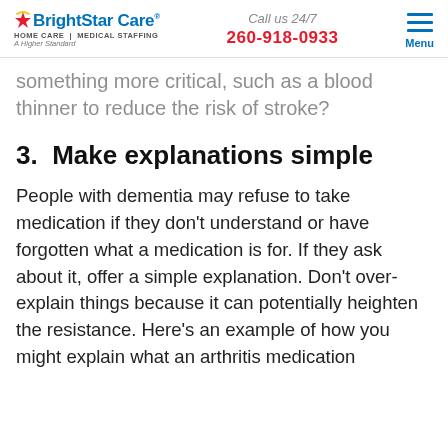BrightStar Care HOME CARE | MEDICAL STAFFING A Higher Standard | Call us 24/7 260-918-0933 | Menu
something more critical, such as a blood thinner to reduce the risk of stroke?
3.  Make explanations simple
People with dementia may refuse to take medication if they don’t understand or have forgotten what a medication is for. If they ask about it, offer a simple explanation. Don’t over-explain things because it can potentially heighten the resistance. Here’s an example of how you might explain what an arthritis medication